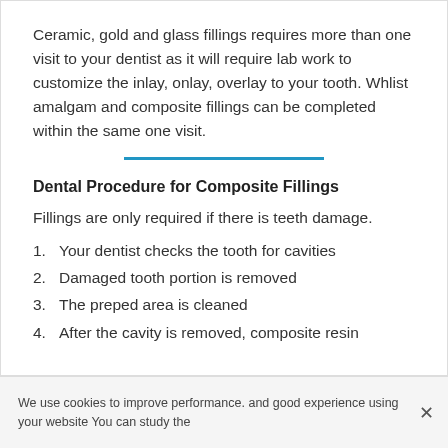Ceramic, gold and glass fillings requires more than one visit to your dentist as it will require lab work to customize the inlay, onlay, overlay to your tooth. Whlist amalgam and composite fillings can be completed within the same one visit.
Dental Procedure for Composite Fillings
Fillings are only required if there is teeth damage.
Your dentist checks the tooth for cavities
Damaged tooth portion is removed
The preped area is cleaned
After the cavity is removed, composite resin
We use cookies to improve performance. and good experience using your website You can study the